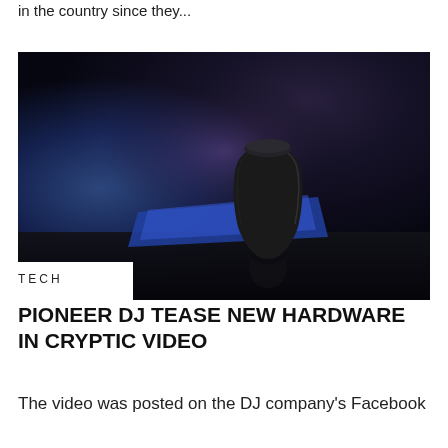in the country since they...
[Figure (photo): Close-up macro photo of what appears to be a turntable needle/stylus on a record, with blue and purple bokeh lighting in the background. The stylus is metallic/dark colored against a dark black surface. A 'TECH' label badge appears in the lower-left corner of the image.]
PIONEER DJ TEASE NEW HARDWARE IN CRYPTIC VIDEO
The video was posted on the DJ company's Facebook...